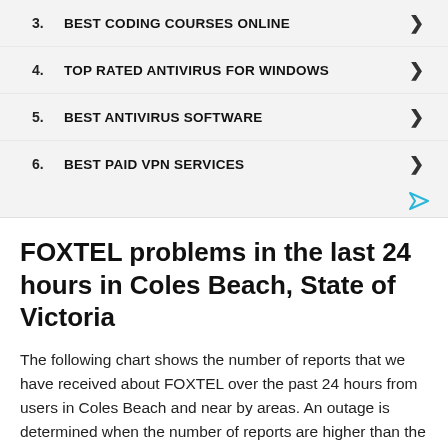3. BEST CODING COURSES ONLINE
4. TOP RATED ANTIVIRUS FOR WINDOWS
5. BEST ANTIVIRUS SOFTWARE
6. BEST PAID VPN SERVICES
FOXTEL problems in the last 24 hours in Coles Beach, State of Victoria
The following chart shows the number of reports that we have received about FOXTEL over the past 24 hours from users in Coles Beach and near by areas. An outage is determined when the number of reports are higher than the baseline, represented by the red line.